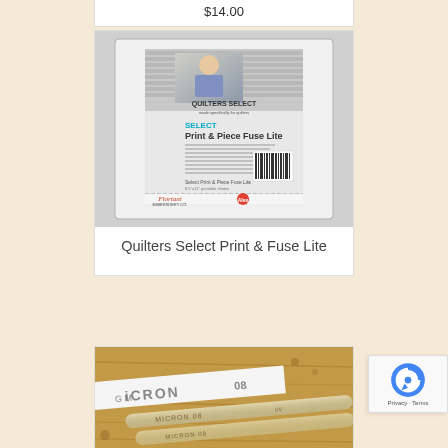$14.00
[Figure (photo): Product photo of Quilters Select Print & Piece Fuse Lite package - a clear plastic envelope containing fusible webbing sheets with the Quilters Select brand label showing a woman at a sewing machine]
Quilters Select Print & Fuse Lite
[Figure (photo): Close-up photo of Micron 08 pen(s) on a wooden surface showing the pen barrel with brand name text]
[Figure (other): reCAPTCHA badge showing Google reCAPTCHA logo with Privacy and Terms links]